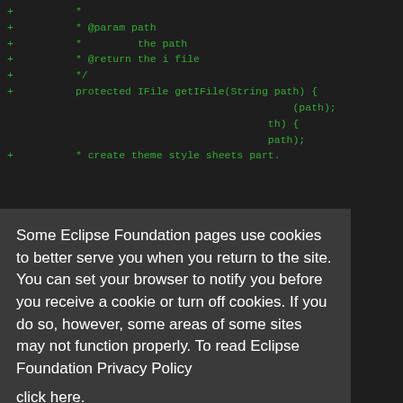[Figure (screenshot): Code diff view showing Java code with green '+' lines on dark background. Lines include: '+ *', '+ * @param path', '+ *         the path', '+ * @return the i file', '+ */', '+ protected IFile getIFile(String path) {', '(path);', and at bottom '+ * create theme style sheets part.']
Some Eclipse Foundation pages use cookies to better serve you when you return to the site. You can set your browser to notify you before you receive a cookie or turn off cookies. If you do so, however, some areas of some sites may not function properly. To read Eclipse Foundation Privacy Policy
click here.